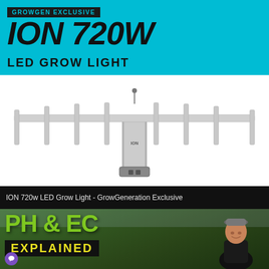[Figure (photo): ION 720W LED Grow Light product photo on teal background with GROWGEN EXCLUSIVE badge and product title text overlay]
ION 720w LED Grow Light - GrowGeneration Exclusive
[Figure (photo): Video thumbnail showing person in greenhouse with cannabis plants and text overlay PH & EC EXPLAINED in green and yellow on dark background]